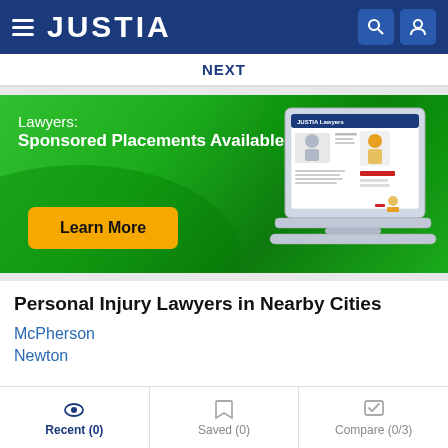JUSTIA
NEXT
[Figure (infographic): Green banner advertisement for Justia Lawyers sponsored placements, showing text 'Lawyers: Sponsored Placements Available', a yellow 'Learn More' button, and a laptop illustration showing the Justia Lawyers website.]
Personal Injury Lawyers in Nearby Cities
McPherson
Newton
Recent (0)  Saved (0)  Compare (0/3)